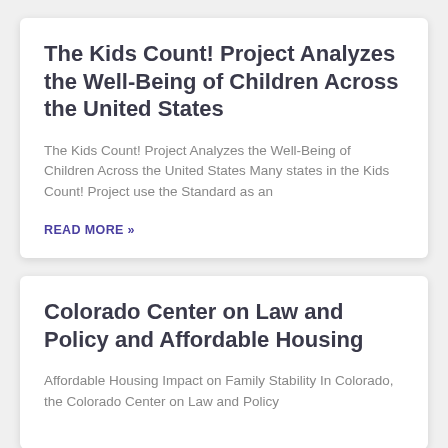The Kids Count! Project Analyzes the Well-Being of Children Across the United States
The Kids Count! Project Analyzes the Well-Being of Children Across the United States Many states in the Kids Count! Project use the Standard as an
READ MORE »
Colorado Center on Law and Policy and Affordable Housing
Affordable Housing Impact on Family Stability In Colorado, the Colorado Center on Law and Policy